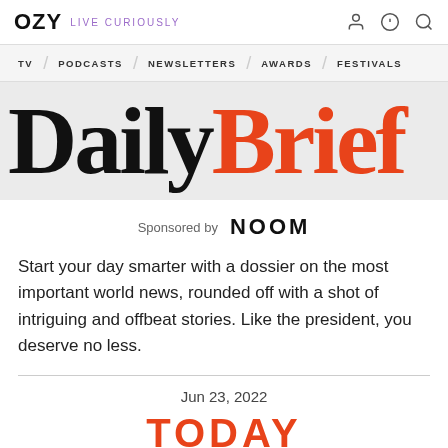OZY LIVE CURIOUSLY
TV / PODCASTS / NEWSLETTERS / AWARDS / FESTIVALS
DailyBrief
Sponsored by NOOM
Start your day smarter with a dossier on the most important world news, rounded off with a shot of intriguing and offbeat stories. Like the president, you deserve no less.
Jun 23, 2022
TODAY